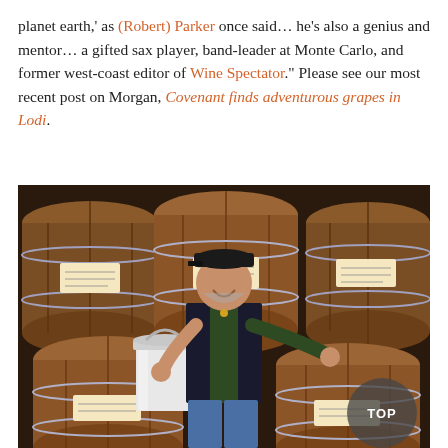planet earth,' as (Robert) Parker once said… he's also a genius and mentor… a gifted sax player, band-leader at Monte Carlo, and former west-coast editor of Wine Spectator." Please see our most recent post on Morgan, Covenant finds adventurous grapes in Lodi.
[Figure (photo): A smiling man in a black cap, green shirt and black vest stands with arms spread wide in front of large wooden wine barrels stacked in a winery. He holds a white plastic bucket in his left hand. A circular grey 'TOP' button overlay appears in the bottom right corner.]